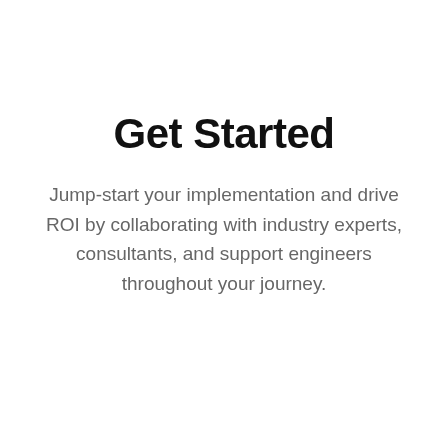Get Started
Jump-start your implementation and drive ROI by collaborating with industry experts, consultants, and support engineers throughout your journey.